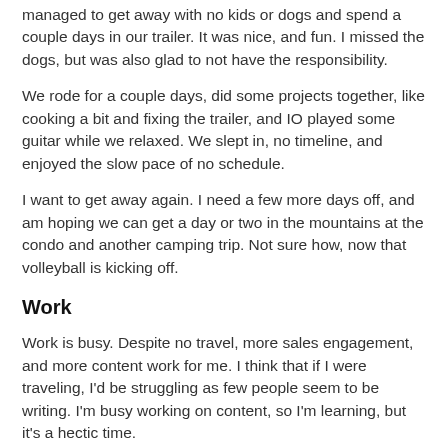managed to get away with no kids or dogs and spend a couple days in our trailer. It was nice, and fun. I missed the dogs, but was also glad to not have the responsibility.
We rode for a couple days, did some projects together, like cooking a bit and fixing the trailer, and IO played some guitar while we relaxed. We slept in, no timeline, and enjoyed the slow pace of no schedule.
I want to get away again. I need a few more days off, and am hoping we can get a day or two in the mountains at the condo and another camping trip. Not sure how, now that volleyball is kicking off.
Work
Work is busy. Despite no travel, more sales engagement, and more content work for me. I think that if I were traveling, I'd be struggling as few people seem to be writing. I'm busy working on content, so I'm learning, but it's a hectic time.
I also lost my boss. She's moving on in Nov to a new opportunity, so it's good and bad. Time for her to go, bad